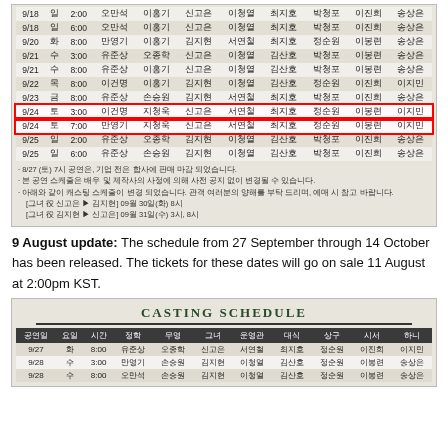[Figure (table-as-image): Korean casting schedule table for September dates 9/18 to 9/25, with two rows (9/24) highlighted in red border]
9 August update: The schedule from 27 September through 14 October has been released. The tickets for these dates will go on sale 11 August at 2:00pm KST.
[Figure (table-as-image): Casting Schedule table header with columns: 공연일, 요일, 시간, 정학, 무영, 그녀, 운영관, 대식, 상구, 시서, 하니, showing rows for 9/27, 9/28, 9/28]